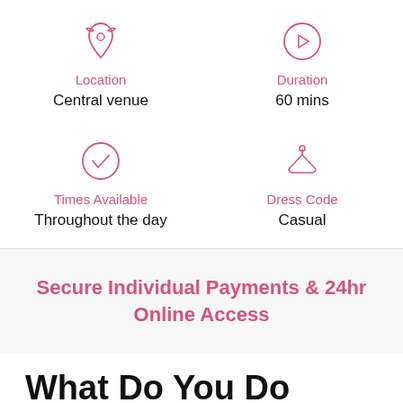[Figure (infographic): Pink location pin icon]
Location
Central venue
[Figure (infographic): Pink clock/timer circle icon]
Duration
60 mins
[Figure (infographic): Pink clock/check circle icon]
Times Available
Throughout the day
[Figure (infographic): Pink clothes hanger icon]
Dress Code
Casual
Secure Individual Payments & 24hr Online Access
What Do You Do During a